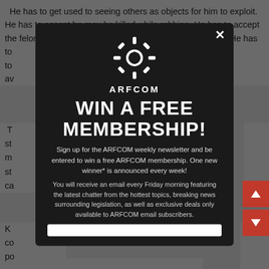He has to get used to seeing others as objects for him to exploit. He has to accept he may be killed while robbing. He has to accept the felony conviction for Robbery will haunt him all his life. He has to accept the ...
T... st... m... st... ca...
K... co... po... sp... a fe...
[Figure (screenshot): ARFCOM modal popup overlay with dark background showing 'WIN A FREE MEMBERSHIP!' promotion. Features ARFCOM gear logo, headline text, subscription details about weekly newsletter, Friday morning emails featuring latest chatter, breaking news, legislation, exclusive deals for ARFCOM email subscribers, and an email input field at the bottom. White X close button in top right.]